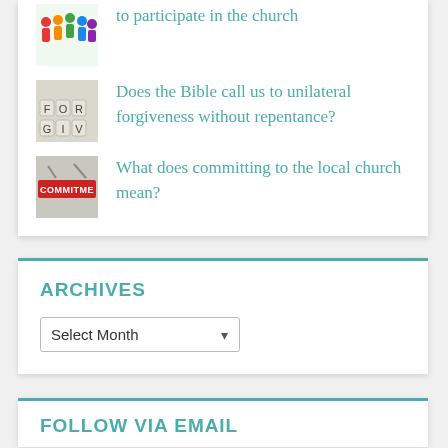to participate in the church
Does the Bible call us to unilateral forgiveness without repentance?
What does committing to the local church mean?
ARCHIVES
Select Month
FOLLOW VIA EMAIL